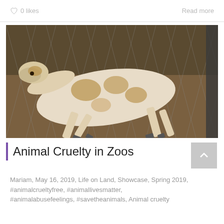♡ 0 likes
Read more
[Figure (photo): A giraffe lying on its side on the ground inside a fenced enclosure, appearing emaciated, with visible ribs and skeletal structure through its patchy coat]
Animal Cruelty in Zoos
Mariam, May 16, 2019, Life on Land, Showcase, Spring 2019, #animalcrueltyfree, #animallivesmatter, #animalabusefeelings, #savetheanimals, Animal cruelty